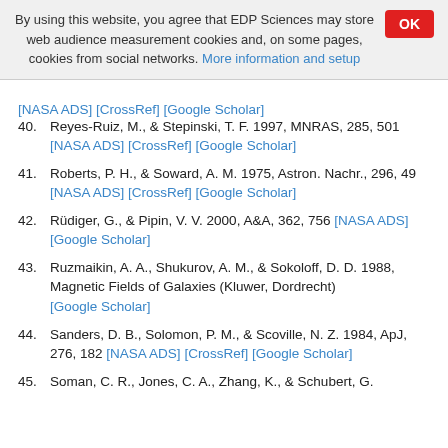By using this website, you agree that EDP Sciences may store web audience measurement cookies and, on some pages, cookies from social networks. More information and setup
40. Reyes-Ruiz, M., & Stepinski, T. F. 1997, MNRAS, 285, 501 [NASA ADS] [CrossRef] [Google Scholar]
41. Roberts, P. H., & Soward, A. M. 1975, Astron. Nachr., 296, 49 [NASA ADS] [CrossRef] [Google Scholar]
42. Rüdiger, G., & Pipin, V. V. 2000, A&A, 362, 756 [NASA ADS] [Google Scholar]
43. Ruzmaikin, A. A., Shukurov, A. M., & Sokoloff, D. D. 1988, Magnetic Fields of Galaxies (Kluwer, Dordrecht) [Google Scholar]
44. Sanders, D. B., Solomon, P. M., & Scoville, N. Z. 1984, ApJ, 276, 182 [NASA ADS] [CrossRef] [Google Scholar]
45. Soman, C. R., Jones, C. A., Zhang, K., & Schubert, G.